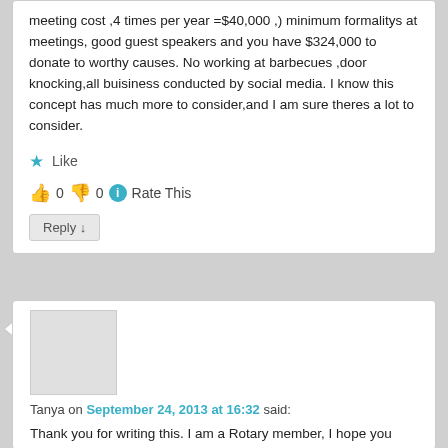meeting cost ,4 times per year =$40,000 ,) minimum formalitys at meetings, good guest speakers and you have $324,000 to donate to worthy causes. No working at barbecues ,door knocking,all buisiness conducted by social media. I know this concept has much more to consider,and I am sure theres a lot to consider.
★ Like
👍 0  👎 0  ℹ Rate This
Reply ↓
[Figure (photo): User avatar placeholder image (gray rectangle)]
Tanya on September 24, 2013 at 16:32 said:
Thank you for writing this. I am a Rotary member, I hope you don't mind but I used your